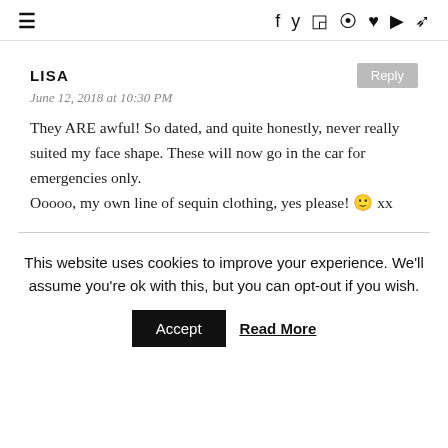≡  f  𝕥  📷  ℗  ♥  ▶  ☍
LISA
June 12, 2018 at 10:30 PM
They ARE awful! So dated, and quite honestly, never really suited my face shape. These will now go in the car for emergencies only.
Oooooo, my own line of sequin clothing, yes please! 🙂 xx
This website uses cookies to improve your experience. We'll assume you're ok with this, but you can opt-out if you wish.
Accept  Read More